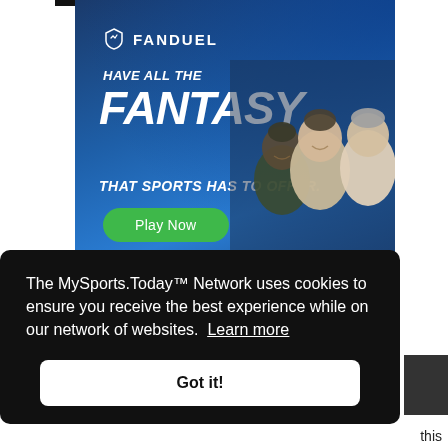[Figure (screenshot): FanDuel advertisement banner with blue background, logo, tagline 'HAVE ALL THE FANTASY THAT SPORTS HAS TO OFFER.', green 'Play Now' button, and photo of three men laughing]
The MySports.Today™ Network uses cookies to ensure you receive the best experience while on our network of websites. Learn more
Got it!
this